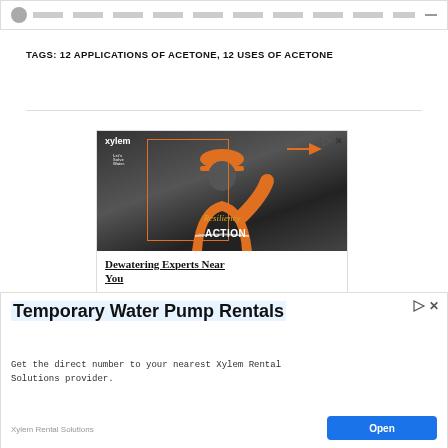TAGS: 12 APPLICATIONS OF ACETONE, 12 USES OF ACETONE
[Figure (screenshot): Xylem advertisement showing a worker in orange safety vest with hard hat, with orange rectangular border overlay, 'Resiliency in ACTION' text overlay, xylem logo top left, and ad controls (play/close) top right. Below image: 'Dewatering Experts Near You' in bold underlined text.]
[Figure (screenshot): Xylem Rental Solutions advertisement banner. Title: 'Temporary Water Pump Rentals' highlighted in light blue. Description: 'Get the direct number to your nearest Xylem Rental Solutions provider.' Brand: 'Xylem Rental Solutions'. Blue 'Open' button on right.]